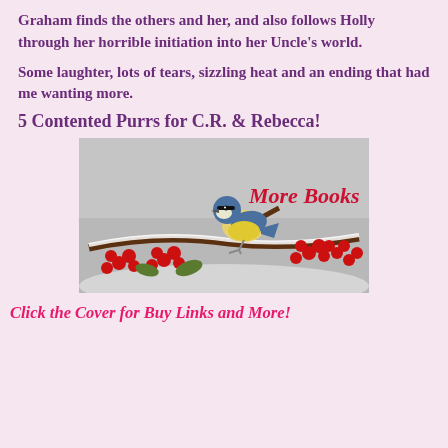Graham finds the others and her, and also follows Holly through her horrible initiation into her Uncle's world.
Some laughter, lots of tears, sizzling heat and an ending that had me wanting more.
5 Contented Purrs for C.R. & Rebecca!
[Figure (photo): A blue tit bird perched on a snow-covered branch with red berries. Text 'More Books' in red cursive overlaid on the image.]
Click the Cover for Buy Links and More!